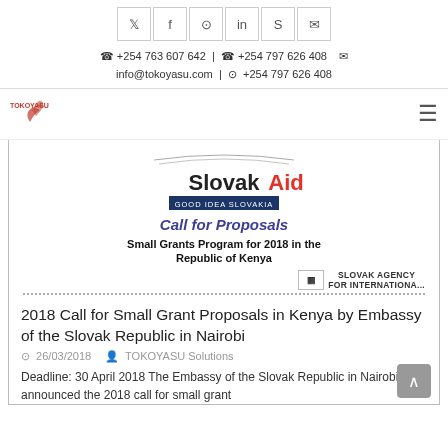Social icons: Twitter, Facebook, Instagram, LinkedIn, Skype, Email | +254 763 607 642 | +254 797 626 408 | info@tokoyasu.com | +254 797 626 408
[Figure (logo): TOKOYASU logo with red stylized figure and text]
[Figure (infographic): SlovakAid Call for Proposals - Small Grants Program for 2018 in the Republic of Kenya document image with Slovak Agency for International Development logo]
2018 Call for Small Grant Proposals in Kenya by Embassy of the Slovak Republic in Nairobi
26/03/2018   TOKOYASU Solutions
Deadline: 30 April 2018 The Embassy of the Slovak Republic in Nairobi has announced the 2018 call for small grant